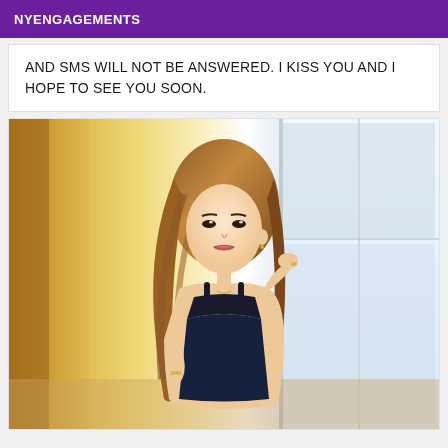NYENGAGEMENTS
AND SMS WILL NOT BE ANSWERED. I KISS YOU AND I HOPE TO SEE YOU SOON.
[Figure (photo): A young Asian woman with long brown hair wearing a black spaghetti-strap dress, posed in front of a bright window with curtains visible in the background.]